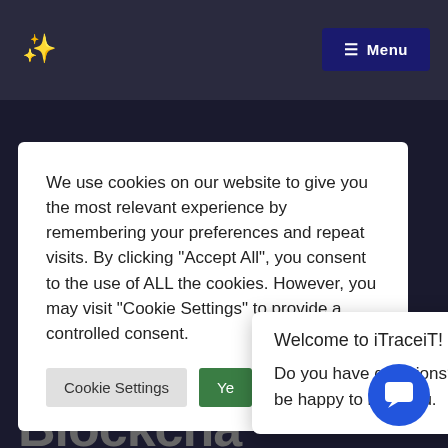≡ Menu
We use cookies on our website to give you the most relevant experience by remembering your preferences and repeat visits. By clicking "Accept All", you consent to the use of ALL the cookies. However, you may visit "Cookie Settings" to provide a controlled consent.
Cookie Settings   Ye[s/Accept All]
Welcome to iTraceiT!
Do you have questions? We will be happy to help you.
The New Equity
Blockchain